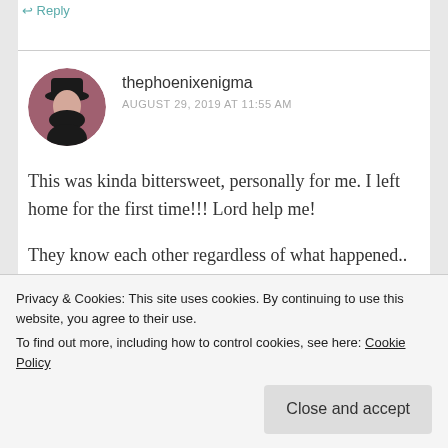↩ Reply
thephoenixenigma
AUGUST 29, 2019 AT 11:55 AM
This was kinda bittersweet, personally for me. I left home for the first time!!! Lord help me!

They know each other regardless of what happened.. I love Manorama in this, she is so strong and there for both Mira and Khushi. Its
Privacy & Cookies: This site uses cookies. By continuing to use this website, you agree to their use.
To find out more, including how to control cookies, see here: Cookie Policy

Close and accept